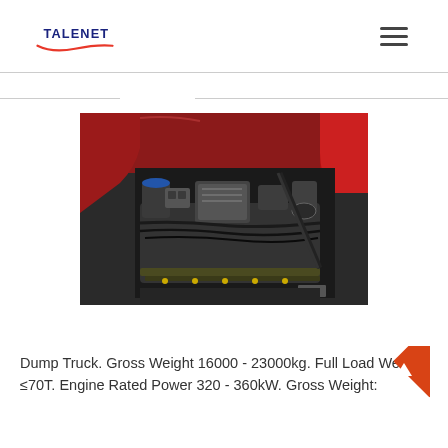TALENET
[Figure (photo): Photograph of a truck engine bay showing the engine block, electronic control unit, wiring harnesses, and engine components viewed from above with the hood open. The truck cab is red.]
Dump Truck. Gross Weight 16000 - 23000kg. Full Load Weight ≤70T. Engine Rated Power 320 - 360kW. Gross Weight: